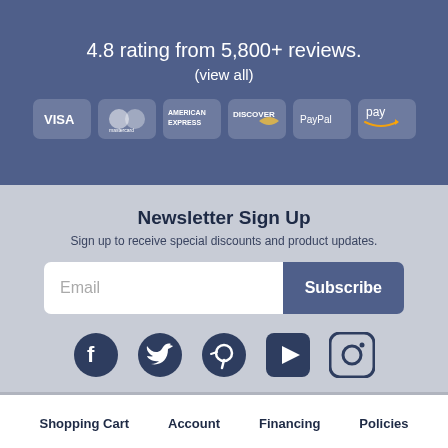4.8 rating from 5,800+ reviews.
(view all)
[Figure (illustration): Payment method icons: Visa, Mastercard, American Express, Discover, PayPal, Amazon Pay]
Newsletter Sign Up
Sign up to receive special discounts and product updates.
[Figure (illustration): Email input field with Subscribe button]
[Figure (illustration): Social media icons: Facebook, Twitter, Pinterest, YouTube, Instagram]
Shopping Cart  Account  Financing  Policies